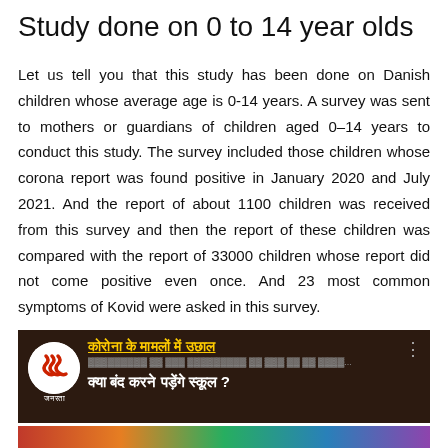Study done on 0 to 14 year olds
Let us tell you that this study has been done on Danish children whose average age is 0-14 years. A survey was sent to mothers or guardians of children aged 0–14 years to conduct this study. The survey included those children whose corona report was found positive in January 2020 and July 2021. And the report of about 1100 children was received from this survey and then the report of these children was compared with the report of 33000 children whose report did not come positive even once. And 23 most common symptoms of Kovid were asked in this survey.
[Figure (screenshot): Video thumbnail from Janrata news channel showing a Hindi news headline about corona cases rising and whether schools will be closed. The thumbnail has a dark reddish-brown background with yellow Hindi text headline underlined and white subheading text, plus the Janrata logo circle on the left.]